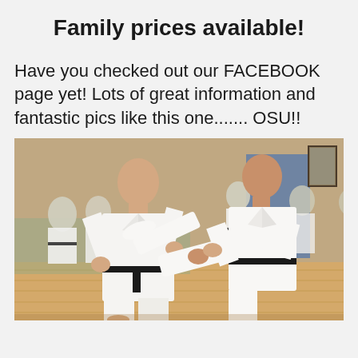Family prices available!
Have you checked out our FACEBOOK page yet! Lots of great information and fantastic pics like this one....... OSU!!
[Figure (photo): Two men in white karate gi uniforms practicing karate in a dojo. The man on the left is in a defensive stance with hands raised, while the man on the right is executing a high kick. Both wear black belts. Other practitioners are visible in the background along with framed pictures on the walls.]